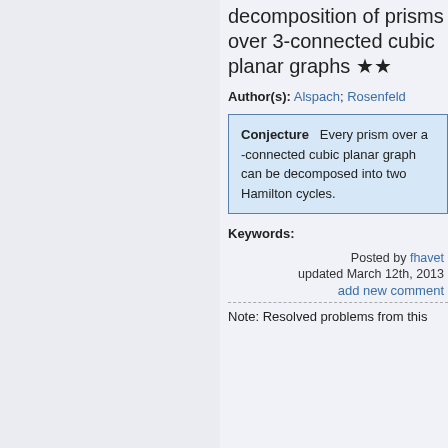decomposition of prisms over 3-connected cubic planar graphs ★★
Author(s): Alspach; Rosenfeld
Conjecture   Every prism over a -connected cubic planar graph can be decomposed into two Hamilton cycles.
Keywords:
Posted by fhavet
updated March 12th, 2013
add new comment
Note: Resolved problems from this